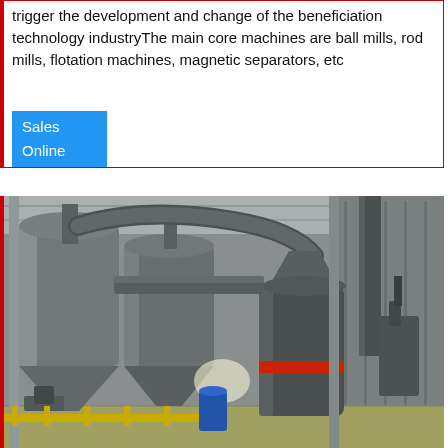trigger the development and change of the beneficiation technology industryThe main core machines are ball mills, rod mills, flotation machines, magnetic separators, etc
Sales Online
[Figure (photo): Industrial interior showing large cylindrical mill machines and cyclone separators in a factory/plant setting, with metal pipes, structural columns, and yellow safety barriers on the floor.]